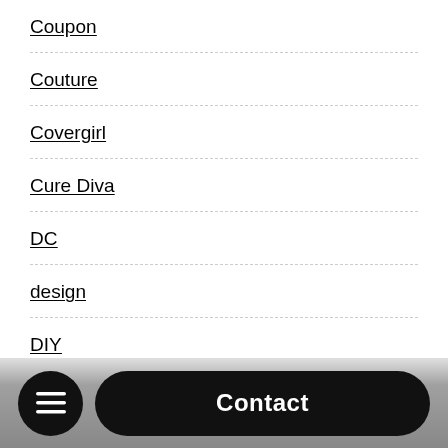Coupon
Couture
Covergirl
Cure Diva
DC
design
DIY
Dryel
Contact